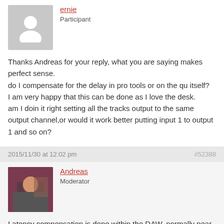ernie
Participant
Thanks Andreas for your reply, what you are saying makes perfect sense.
do I compensate for the delay in pro tools or on the qu itself?
I am very happy that this can be done as I love the desk.
am I doin it right setting all the tracks output to the same output channel,or would it work better putting input 1 to output 1 and so on?
2015/11/30 at 12:02 pm
#52388
Andreas
Moderator
Latency compensation is done within the DAW, normally near the dialog where you're selecting the audio interface. I'm not a Protools user so I can't point you directly to that setting (what about the Protools manual?).